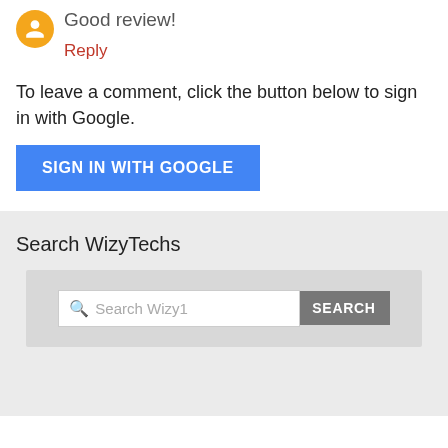Good review!
Reply
To leave a comment, click the button below to sign in with Google.
[Figure (other): Blue button labeled SIGN IN WITH GOOGLE]
Search WizyTechs
[Figure (other): Search widget with input field showing 'Search Wizy1' placeholder and a SEARCH button]